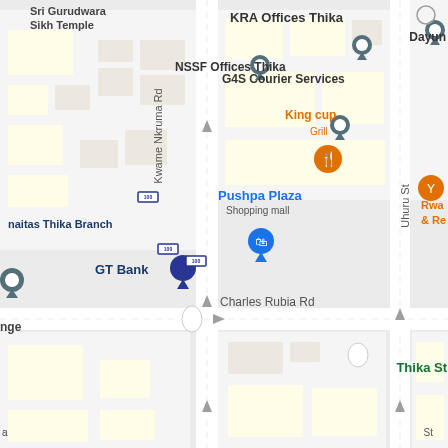[Figure (map): Google Maps street map of Thika town center, Kenya, showing roads including Kwame Nkruma Rd, Charles Rubia Rd, Uhuru St, and Thika St. Points of interest include KRA Offices Thika, NSSF Offices Thika, G4S Courier Services, King cup Grill (orange pin), Pushpa Plaza Shopping mall (blue pin), GT Bank (blue pin), Dayun (blue-grey pin), Rwa & Re (orange pin), naitas Thika Branch (blue-grey pin), nge, and a Thika St label in green.]